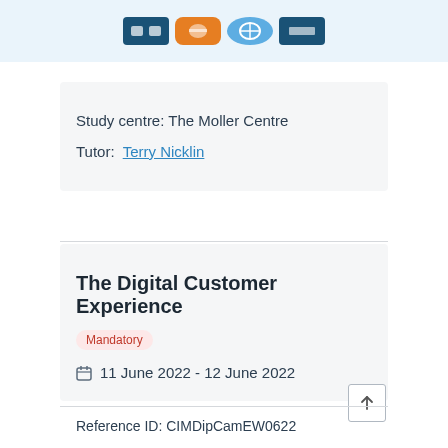[Figure (other): Payment/membership badge icons row on light blue background]
Study centre: The Moller Centre
Tutor: Terry Nicklin
The Digital Customer Experience
Mandatory
11 June 2022 - 12 June 2022
Reference ID: CIMDipCamEW0622